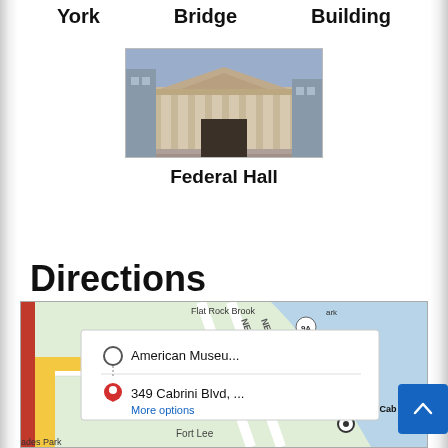York   Bridge   Building
[Figure (photo): Photo of Federal Hall, a classical building with columns]
Federal Hall
Directions
[Figure (map): Google Maps showing directions from American Museum to 349 Cabrini Blvd, with a popup showing 'American Museu...' and '349 Cabrini Blvd, ...' and 'More options' link. Fort Lee label visible, map shows roads and water.]